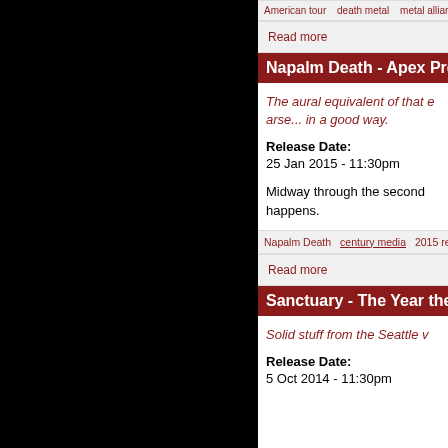American tour   death metal   metal alliance tour   pd09/05/19
Read more
Napalm Death - Apex Predator - Easy Me
The aural equivalent of that e arse... in a good way.
Release Date:
25 Jan 2015 - 11:30pm
Midway through the second happens.
Napalm Death   century media   2015 releases   death metal
Read more
Sanctuary - The Year the Sun Died (Centu
Solid stuff from the Seattle v
Release Date:
5 Oct 2014 - 11:30pm